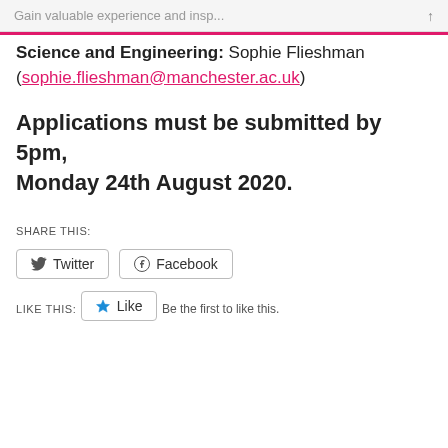Gain valuable experience and insp...
Science and Engineering: Sophie Flieshman (sophie.flieshman@manchester.ac.uk)
Applications must be submitted by 5pm, Monday 24th August 2020.
SHARE THIS:
Twitter  Facebook
LIKE THIS:
Like
Be the first to like this.